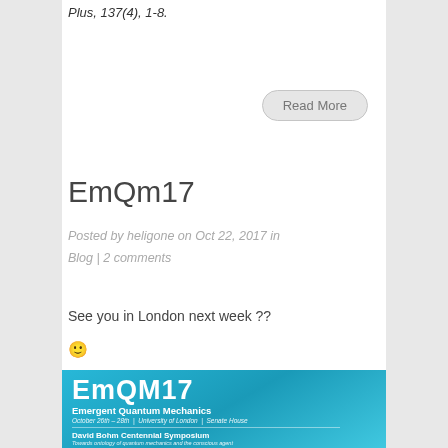Plus, 137(4), 1-8.
[Figure (other): Read More button]
EmQm17
Posted by heligone on Oct 22, 2017 in Blog | 2 comments
See you in London next week ??
🙂
[Figure (other): EmQM17 Emergent Quantum Mechanics conference poster showing 'David Bohm Centennial Symposium' at University of London, Senate House, October 26th-28th, with speakers including Yakir Aharonov, Basil Hiley, Matthew Leifer, Tim Maudlin, Sir Roger Penrose, Huw Price]